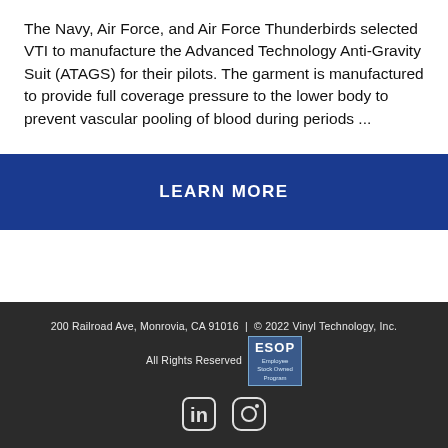The Navy, Air Force, and Air Force Thunderbirds selected VTI to manufacture the Advanced Technology Anti-Gravity Suit (ATAGS) for their pilots. The garment is manufactured to provide full coverage pressure to the lower body to prevent vascular pooling of blood during periods ...
LEARN MORE
200 Railroad Ave, Monrovia, CA 91016  |  © 2022 Vinyl Technology, Inc.  All Rights Reserved  [ESOP badge] [LinkedIn] [Instagram]